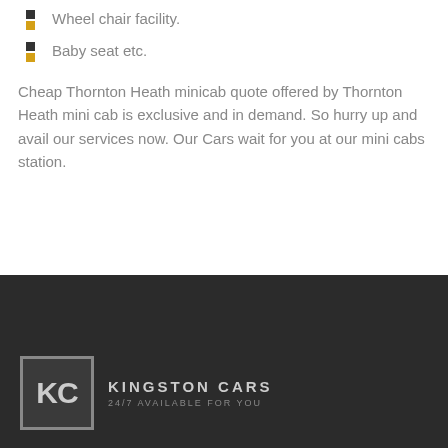Wheel chair facility.
Baby seat etc.
Cheap Thornton Heath minicab quote offered by Thornton Heath mini cab is exclusive and in demand. So hurry up and avail our services now. Our Cars wait for you at our mini cabs station.
KINGSTON CARS 24/7 AVAILABLE FOR YOU